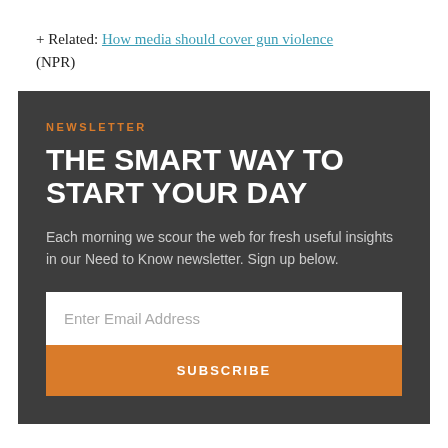+ Related: How media should cover gun violence (NPR)
NEWSLETTER
THE SMART WAY TO START YOUR DAY
Each morning we scour the web for fresh useful insights in our Need to Know newsletter. Sign up below.
Enter Email Address
SUBSCRIBE